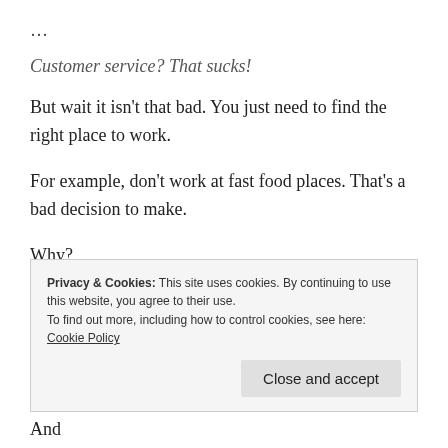…
Customer service? That sucks!
But wait it isn't that bad. You just need to find the right place to work.
For example, don't work at fast food places. That's a bad decision to make.
Why?
Cause those places have terrible hours, pay their
Privacy & Cookies: This site uses cookies. By continuing to use this website, you agree to their use.
To find out more, including how to control cookies, see here: Cookie Policy
Close and accept
upscale restaurants — if you want some fast cash. And